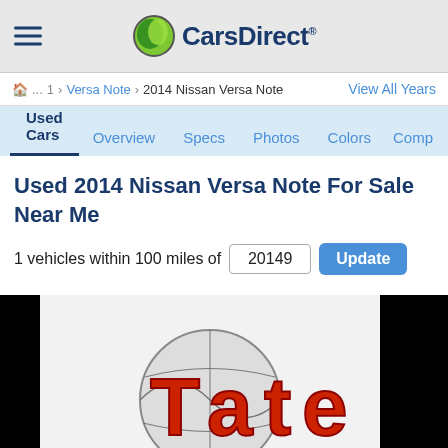CarsDirect
... 1 > Versa Note > 2014 Nissan Versa Note   View All Years
Used Cars   Overview   Specs   Photos   Colors   Comp
Used 2014 Nissan Versa Note For Sale Near Me
1 vehicles within 100 miles of 20149   Update
[Figure (logo): Tate dealership logo with globe graphic on light background, flanked by black panels]
[Figure (photo): CarsDirect advertisement banner with Nissan logo, dark red SUV, and Learn More button]